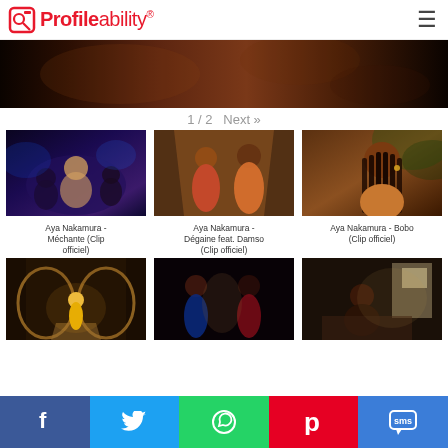Profileability
[Figure (photo): Dark moody hero image showing silhouettes of people in warm tones]
1 / 2  Next »
[Figure (photo): Aya Nakamura - Méchante (Clip officiel) thumbnail with people at a party in blue lighting]
Aya Nakamura - Méchante (Clip officiel)
[Figure (photo): Aya Nakamura - Dégaine feat. Damso (Clip officiel) thumbnail with two people in orange lighting]
Aya Nakamura - Dégaine feat. Damso (Clip officiel)
[Figure (photo): Aya Nakamura - Bobo (Clip officiel) thumbnail with woman with braids]
Aya Nakamura - Bobo (Clip officiel)
[Figure (photo): Thumbnail of music video showing performer in ornate hall]
[Figure (photo): Thumbnail of music video showing two people in red/blue lighting]
[Figure (photo): Thumbnail of music video showing person in room with window]